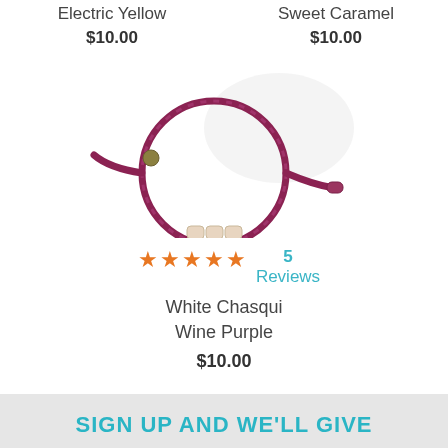Electric Yellow
$10.00
Sweet Caramel
$10.00
[Figure (photo): A wine purple Chasqui bracelet with white beads on a light background]
★★★★★ 5 Reviews
White Chasqui Wine Purple
$10.00
SIGN UP AND WE'LL GIVE